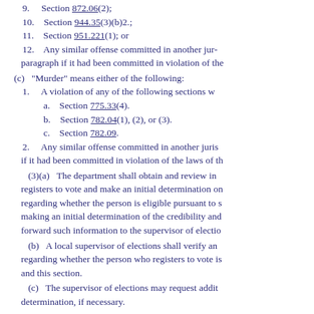9.    Section 872.06(2);
10.   Section 944.35(3)(b)2.;
11.   Section 951.221(1); or
12.   Any similar offense committed in another jurisdiction that would be included under this paragraph if it had been committed in violation of the laws of this state.
(c)   "Murder" means either of the following:
1.    A violation of any of the following sections with intent to commit murder:
a.    Section 775.33(4).
b.    Section 782.04(1), (2), or (3).
c.    Section 782.09.
2.    Any similar offense committed in another jurisdiction that would be included under this paragraph if it had been committed in violation of the laws of this state.
(3)(a)   The department shall obtain and review information from a person who registers to vote and make an initial determination on whether additional investigation regarding whether the person is eligible pursuant to s. 98.0751 is warranted before making an initial determination of the credibility and reliability of the information and forward such information to the supervisor of elections.
(b)   A local supervisor of elections shall verify and make an initial determination regarding whether the person who registers to vote is eligible pursuant to s. 98.0751 and this section.
(c)   The supervisor of elections may request additional information for the determination, if necessary.